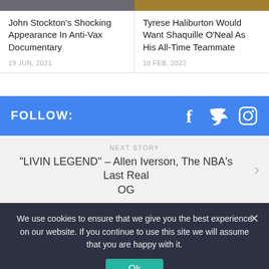[Figure (photo): Two article thumbnail images side by side at top]
John Stockton's Shocking Appearance In Anti-Vax Documentary
19 JUN, 2021
Tyrese Haliburton Would Want Shaquille O'Neal As His All-Time Teammate
18 FEB, 2022
FOLLOW:
[Figure (infographic): Social media icons: Facebook, Twitter, Instagram]
NEXT STORY
“LIVIN LEGEND” – Allen Iverson, The NBA’s Last Real OG
We use cookies to ensure that we give you the best experience on our website. If you continue to use this site we will assume that you are happy with it.